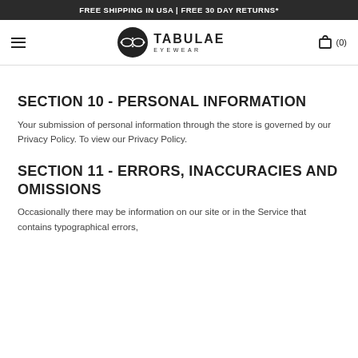FREE SHIPPING IN USA | FREE 30 DAY RETURNS*
[Figure (logo): Tabulae Eyewear logo with circular icon and brand name]
SECTION 10 - PERSONAL INFORMATION
Your submission of personal information through the store is governed by our Privacy Policy. To view our Privacy Policy.
SECTION 11 - ERRORS, INACCURACIES AND OMISSIONS
Occasionally there may be information on our site or in the Service that contains typographical errors,